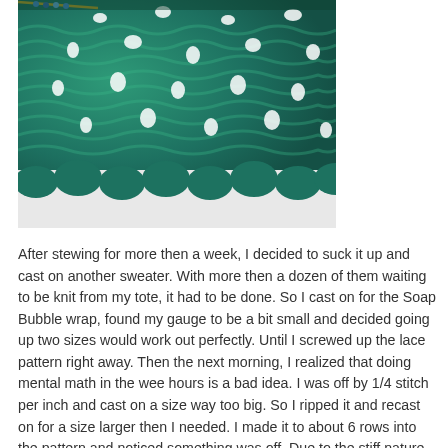[Figure (photo): Close-up photograph of teal/dark green lace knitting on needles, showing an open lace pattern with decorative holes, on a white background.]
After stewing for more then a week, I decided to suck it up and cast on another sweater. With more then a dozen of them waiting to be knit from my tote, it had to be done. So I cast on for the Soap Bubble wrap, found my gauge to be a bit small and decided going up two sizes would work out perfectly. Until I screwed up the lace pattern right away. Then the next morning, I realized that doing mental math in the wee hours is a bad idea. I was off by 1/4 stitch per inch and cast on a size way too big. So I ripped it and recast on for a size larger then I needed. I made it to about 6 rows into the pattern and noticed something was off. Due to the stiff nature of the hemp, I didn't notice I had dropped a